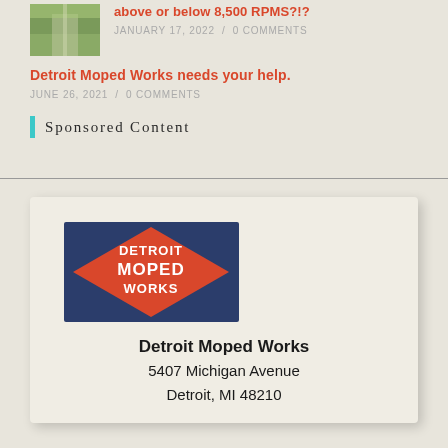[Figure (photo): Small thumbnail photo showing a road/path with green trees]
above or below 8,500 RPMS?!?
JANUARY 17, 2022 / 0 COMMENTS
Detroit Moped Works needs your help.
JUNE 26, 2021 / 0 COMMENTS
Sponsored Content
[Figure (logo): Detroit Moped Works logo — diamond shape with navy blue background and orange/red accent, white text reading DETROIT MOPED WORKS]
Detroit Moped Works
5407 Michigan Avenue
Detroit, MI 48210